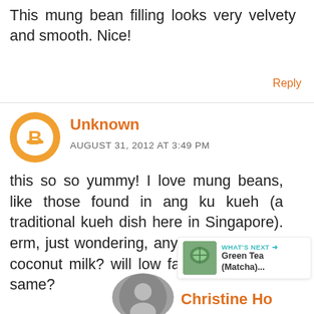This mung bean filling looks very velvety and smooth. Nice!
Reply
Unknown
AUGUST 31, 2012 AT 3:49 PM
this so so yummy! I love mung beans, like those found in ang ku kueh (a traditional kueh dish here in Singapore). erm, just wondering, any way to replace coconut milk? will low fat milk work the same?
WHAT'S NEXT → Green Tea (Matcha)...
Christine Ho